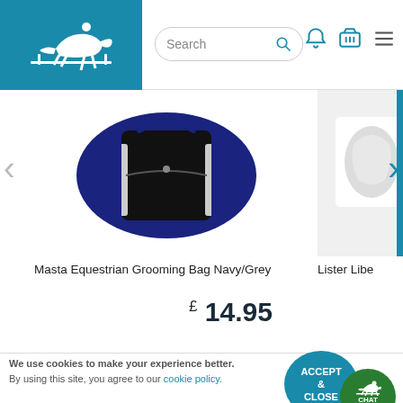[Figure (screenshot): Website header with teal logo box showing horse jumping silhouette, search bar, bell icon, basket icon, and hamburger menu]
[Figure (photo): Masta Equestrian Grooming Bag Navy/Grey product photo - navy blue bag with grey stripes and zipper visible]
Masta Equestrian Grooming Bag Navy/Grey
£ 14.95
[Figure (photo): Partially visible product image on right side - Lister Libe...]
Lister Libe
We use cookies to make your experience better. By using this site, you agree to our cookie policy.
ACCEPT & CLOSE
CHAT ONLINE